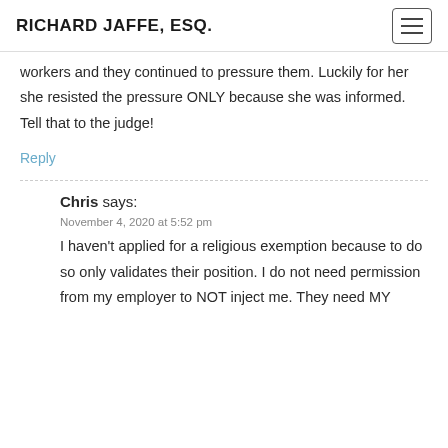RICHARD JAFFE, ESQ.
workers and they continued to pressure them. Luckily for her she resisted the pressure ONLY because she was informed. Tell that to the judge!
Reply
Chris says:
November 4, 2020 at 5:52 pm
I haven't applied for a religious exemption because to do so only validates their position. I do not need permission from my employer to NOT inject me. They need MY